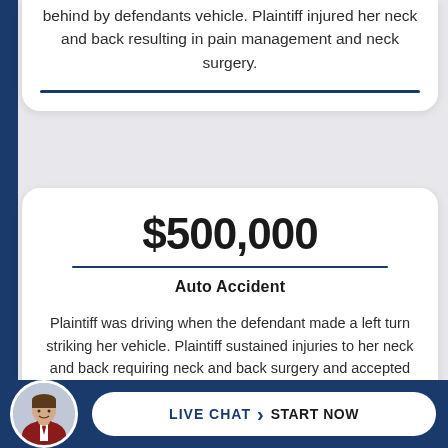behind by defendants vehicle. Plaintiff injured her neck and back resulting in pain management and neck surgery.
$500,000
Auto Accident
Plaintiff was driving when the defendant made a left turn striking her vehicle. Plaintiff sustained injuries to her neck and back requiring neck and back surgery and accepted policy limits of $500,000.
[Figure (photo): Circular avatar photo of a man in a suit, used in live chat footer button]